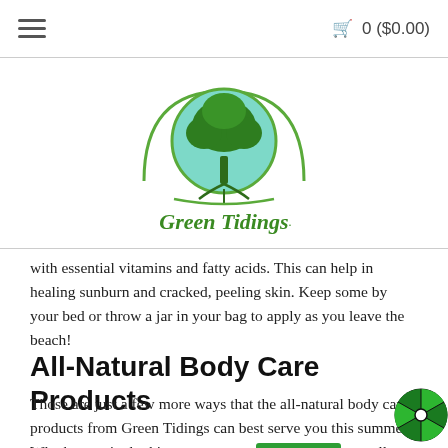≡   🛒 0 ($0.00)
[Figure (logo): Green Tidings logo: circular green emblem with a tree and roots, teal background, with 'Green Tidings' text in green cursive/script font beneath the emblem]
with essential vitamins and fatty acids. This can help in healing sunburn and cracked, peeling skin. Keep some by your bed or throw a jar in your bag to apply as you leave the beach!
All-Natural Body Care Products
Those are just a few more ways that the all-natural body care products from Green Tidings can best serve you this summer! Whether you're looking to pamper y… our all-natural coconut sugar scrub or heal your skin with our